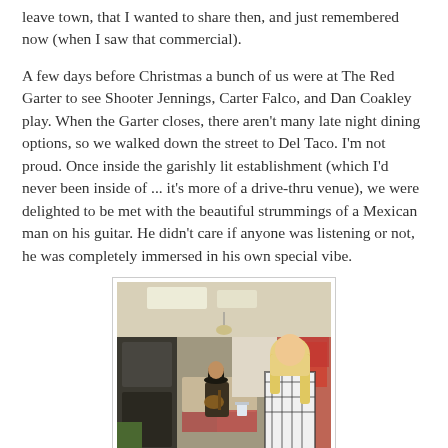leave town, that I wanted to share then, and just remembered now (when I saw that commercial).
A few days before Christmas a bunch of us were at The Red Garter to see Shooter Jennings, Carter Falco, and Dan Coakley play. When the Garter closes, there aren't many late night dining options, so we walked down the street to Del Taco. I'm not proud. Once inside the garishly lit establishment (which I'd never been inside of ... it's more of a drive-thru venue), we were delighted to be met with the beautiful strummings of a Mexican man on his guitar. He didn't care if anyone was listening or not, he was completely immersed in his own special vibe.
[Figure (photo): A photo taken inside a Del Taco restaurant. A man wearing a cowboy hat is playing guitar, seated at a table. A woman with long blonde hair in a plaid shirt stands nearby. The restaurant interior shows fluorescent lighting, booths, and Christmas decorations.]